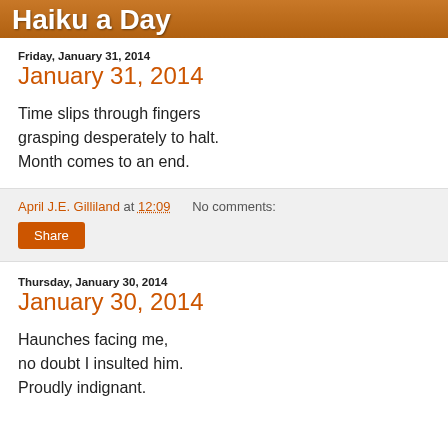Haiku a Day
Friday, January 31, 2014
January 31, 2014
Time slips through fingers
grasping desperately to halt.
Month comes to an end.
April J.E. Gilliland at 12:09   No comments:
Share
Thursday, January 30, 2014
January 30, 2014
Haunches facing me,
no doubt I insulted him.
Proudly indignant.